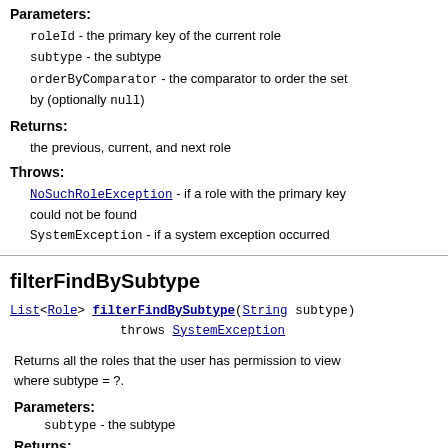Parameters:
roleId - the primary key of the current role
subtype - the subtype
orderByComparator - the comparator to order the set by (optionally null)
Returns:
the previous, current, and next role
Throws:
NoSuchRoleException - if a role with the primary key could not be found
SystemException - if a system exception occurred
filterFindBySubtype
List<Role> filterFindBySubtype(String subtype)
    throws SystemException
Returns all the roles that the user has permission to view where subtype = ?.
Parameters:
subtype - the subtype
Returns: